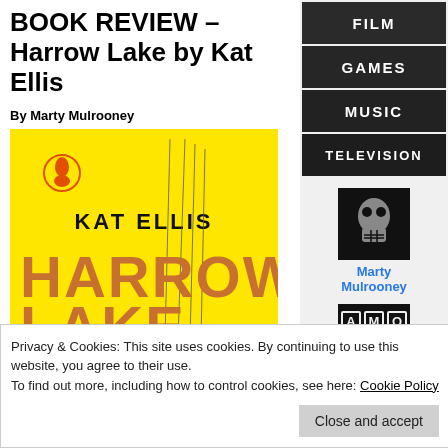BOOK REVIEW – Harrow Lake by Kat Ellis
By Marty Mulrooney
[Figure (photo): Book cover of Harrow Lake by Kat Ellis – bright yellow cover with large orange text reading KAT ELLIS HARROW LAKE and a Penguin Books logo]
[Figure (other): Navigation menu with dark textured background images showing: FILM, GAMES, MUSIC, TELEVISION]
[Figure (photo): Black square avatar image with skull/mask illustration for author Marty Mulrooney]
Marty Mulrooney
[Figure (logo): AMO logo: black rectangle with letters A M O in tile/block style]
Guest/Previous
Privacy & Cookies: This site uses cookies. By continuing to use this website, you agree to their use.
To find out more, including how to control cookies, see here: Cookie Policy
Close and accept
BioShock